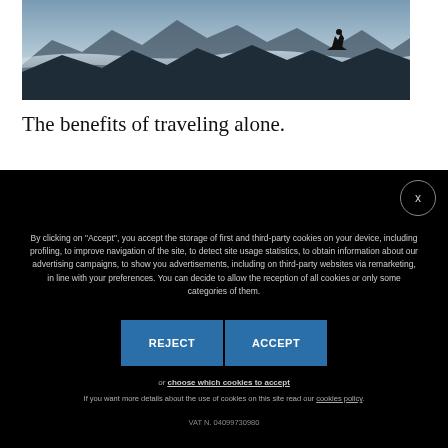[Figure (photo): Panoramic mountain landscape with a person silhouetted on a rocky peak above clouds and misty valleys]
The benefits of traveling alone.
By clicking on "Accept", you accept the storage of first and third-party cookies on your device, including profiling, to improve navigation of the site, to detect site usage statistics, to obtain information about our advertising campaigns, to show you advertisements, including on third-party websites via remarketing, in line with your preferences. You can decide to allow the reception of all cookies or only some categories of them.
REJECT
ACCEPT
or choose which cookies to accept
If you want more details about the use of cookies on this site read our cookies policy.
VAT N. 04099730980